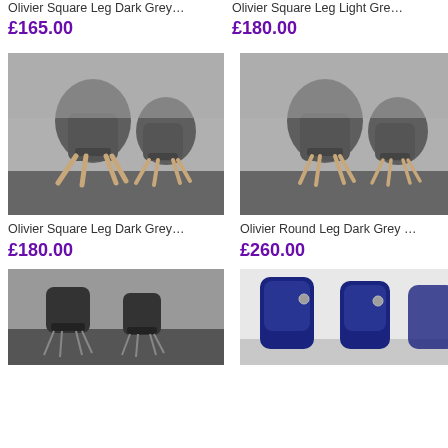Olivier Square Leg Dark Grey…
£165.00
Olivier Square Leg Light Gre…
£180.00
[Figure (photo): Two dark grey chairs with square wooden legs on dark floor]
[Figure (photo): Two dark grey chairs with round wooden legs on dark floor]
Olivier Square Leg Dark Grey…
£180.00
Olivier Round Leg Dark Grey …
£260.00
[Figure (photo): Two dark grey chairs with metal wire legs]
[Figure (photo): Two navy blue velvet high-back chairs]